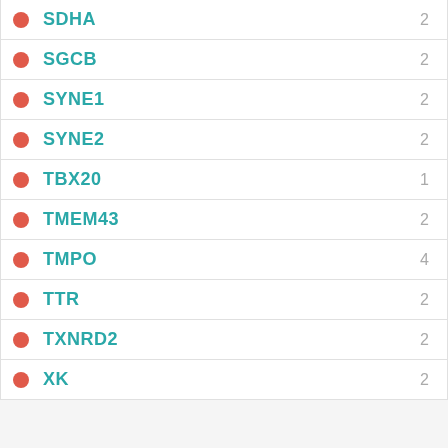SDHA 2
SGCB 2
SYNE1 2
SYNE2 2
TBX20 1
TMEM43 2
TMPO 4
TTR 2
TXNRD2 2
XK 2